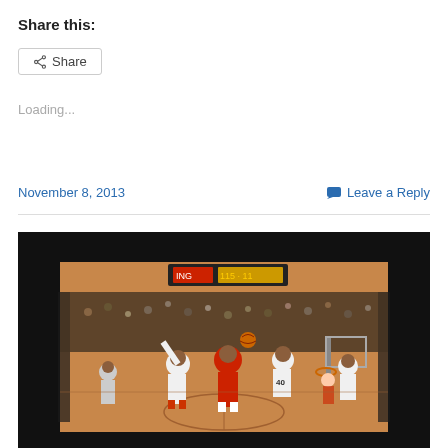Share this:
Share
Loading...
November 8, 2013
Leave a Reply
[Figure (photo): Basketball game photo showing players on a court during an NBA game, one player in a red uniform driving to the basket among defenders in white uniforms, with spectators visible in the background and scoreboard visible at top.]